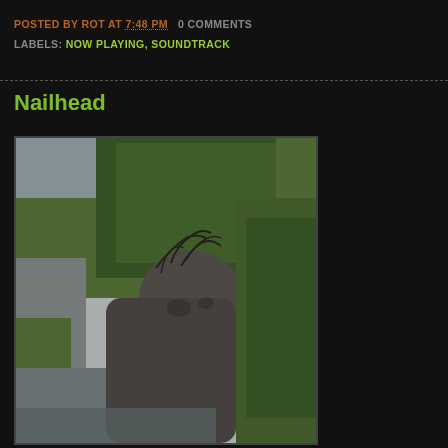POSTED BY ROT AT 7:48 PM   0 COMMENTS
LABELS: NOW PLAYING, SOUNDTRACK
Nailhead
[Figure (photo): Photograph of a weathered wooden or stone figure/statue resembling a humanoid form with vines or roots growing from its head, standing outdoors with trees and a street scene in the background]